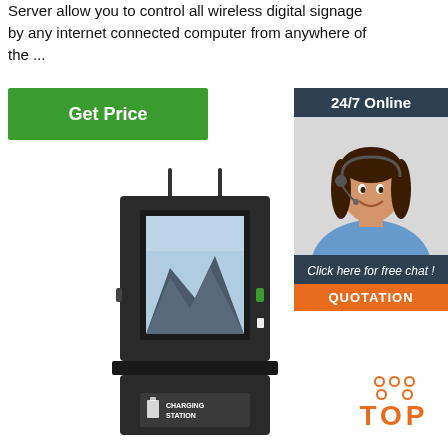Server allow you to control all wireless digital signage by any internet connected computer from anywhere of the ...
[Figure (other): Green 'Get Price' button]
[Figure (other): Sidebar with '24/7 Online' header, photo of woman with headset, 'Click here for free chat !' text, 'QUOTATION' orange button]
[Figure (other): Outdoor digital kiosk with charging station and display screen showing mountain landscape]
[Figure (other): Orange 'TOP' badge with dots arranged in triangle above text]